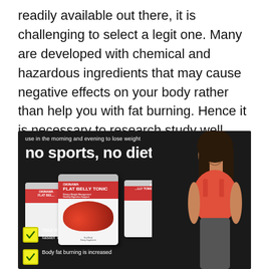readily available out there, it is challenging to select a legit one. Many are developed with chemical and hazardous ingredients that may cause negative effects on your body rather than help you with fat burning. Hence it is necessary to research study well prior to investing in any kind of such wellness supplements.
[Figure (illustration): Advertisement image for Okinawa Flat Belly Tonic supplement. Dark background showing three product jars with red and white labels. Text reads 'use in the morning and evening to lose weight' and 'no sports, no diet' in bold white. A fitness woman in a red sports bra is shown on the right. At the bottom are two yellow checkbox bullet points: 'Your metabolism works 8 times faster than a normal person' and 'Body fat burning is increased'.]